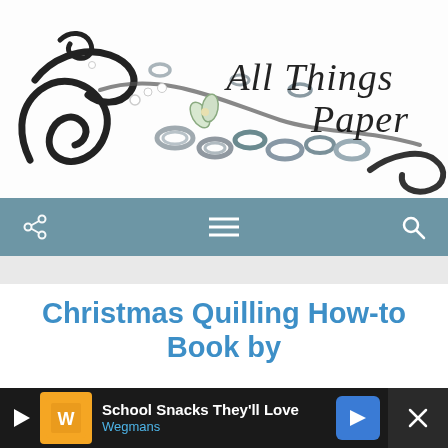[Figure (photo): All Things Paper blog header banner with decorative paper quilling art (black scrolls, silver/white coiled paper shapes, small flowers) on white background, with cursive logo text 'All Things Paper' in italic script on the right side]
[Figure (screenshot): Navigation bar with steel blue background containing share icon (left), hamburger menu icon (center), and search icon (right) in white]
Christmas Quilling How-to Book by
[Figure (screenshot): Advertisement banner: black background with play button, Wegmans orange logo box, text 'School Snacks They'll Love' and 'Wegmans', blue diamond arrow button, and close X button on dark right panel]